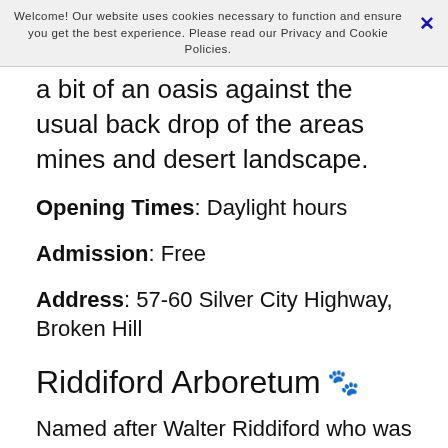Welcome! Our website uses cookies necessary to function and ensure you get the best experience. Please read our Privacy and Cookie Policies.
a bit of an oasis against the usual back drop of the areas mines and desert landscape.
Opening Times: Daylight hours
Admission: Free
Address: 57-60 Silver City Highway, Broken Hill
Riddiford Arboretum 🐾
Named after Walter Riddiford who was the mayor from 1949 to 1962. The reserve is one of the areas repurposed and regenerated by a local botanist Albert Morris. It features